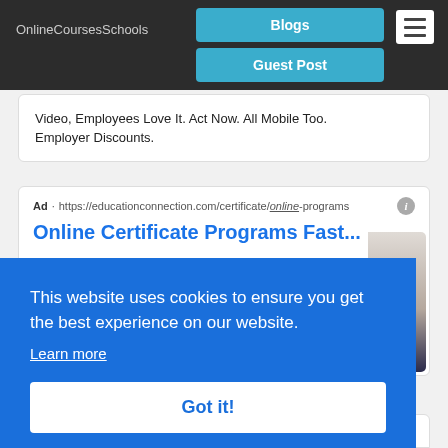OnlineCoursesSchools | Blogs | Guest Post
Video, Employees Love It. Act Now. All Mobile Too. Employer Discounts.
Ad · https://educationconnection.com/certificate/online-programs
Online Certificate Programs Fast...
This website uses cookies to ensure you get the best experience on our website.
Learn more
Got it!